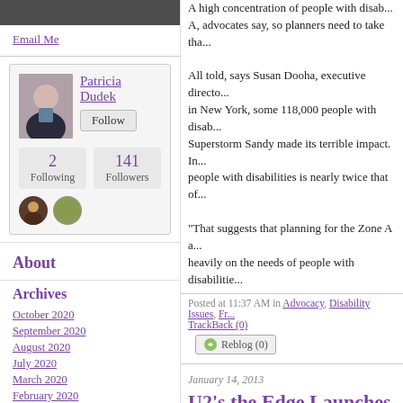Email Me
[Figure (photo): Profile photo of Patricia Dudek, a woman with light hair in a dark jacket]
Patricia Dudek Follow 2 Following 141 Followers
About
Archives
October 2020
September 2020
August 2020
July 2020
March 2020
February 2020
A high concentration of people with disab... A, advocates say, so planners need to take tha...
All told, says Susan Dooha, executive directo... in New York, some 118,000 people with disab... Superstorm Sandy made its terrible impact. In... people with disabilities is nearly twice that of...
"That suggests that planning for the Zone A a... heavily on the needs of people with disabilitie...
Posted at 11:37 AM in Advocacy, Disability Issues, Fr... TrackBack (0)
Reblog (0)
January 14, 2013
U2's the Edge Launches R...
Excerpt from: The Rolling Stone (click for ful...
U2 guitarist the Edge has expanded his Music... fund. Music Rising will donate an initial $250... state area affected by Hurricane Sandy in Oct... website.
Posted at 01:41 PM in Advocacy, Frankenstorm...